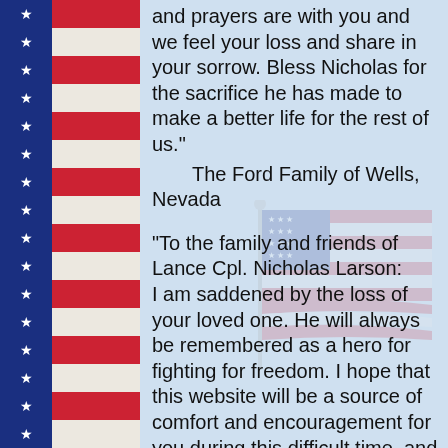[Figure (illustration): American flag border on left side with blue canton containing white stars and alternating red and white stripes]
and prayers are with you and we feel your loss and share in your sorrow. Bless Nicholas for the sacrifice he has made to make a better life for the rest of us."
        The Ford Family of Wells, Nevada
[Figure (illustration): Faded/watermark American flag with flagpole in the background]
"To the family and friends of Lance Cpl. Nicholas Larson: I am saddened by the loss of your loved one. He will always be remembered as a hero for fighting for freedom. I hope that this website will be a source of comfort and encouragement for you during this difficult time, and in the future as you recall the memories of Nicholas, who continues to live on in your heart."